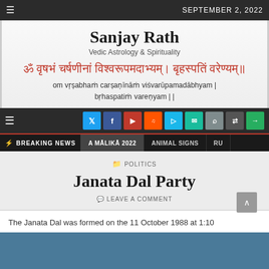SEPTEMBER 2, 2022
Sanjay Rath
Vedic Astrology & Spirituality
ॐ वृषभं चर्षणीनां विश्वरूपमदाभ्यम्। बृहस्पतिं वरेण्यम्॥
om vṛṣabhaṁ carṣaṇīnāṁ viśvarūpamadābhyam | bṛhaspatiṁ vareṇyam | |
BREAKING NEWS  A MĀLIKĀ 2022  ANIMAL SIGNS  RU
POLITICS
Janata Dal Party
LEAVE A COMMENT
The Janata Dal was formed on the 11 October 1988 at 1:10